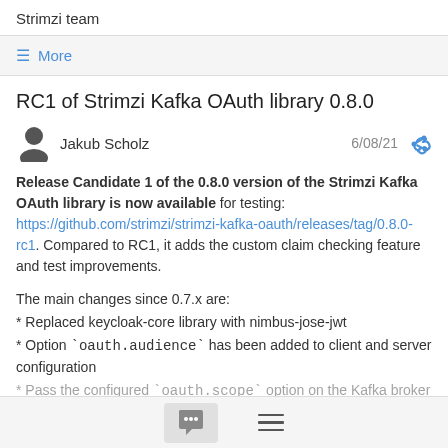Strimzi team
≡ More
RC1 of Strimzi Kafka OAuth library 0.8.0
Jakub Scholz   6/08/21
Release Candidate 1 of the 0.8.0 version of the Strimzi Kafka OAuth library is now available for testing: https://github.com/strimzi/strimzi-kafka-oauth/releases/tag/0.8.0-rc1. Compared to RC1, it adds the custom claim checking feature and test improvements.
The main changes since 0.7.x are:
* Replaced keycloak-core library with nimbus-jose-jwt
* Option `oauth.audience` has been added to client and server configuration
* Pass the configured `oauth.scope` option on the Kafka broker